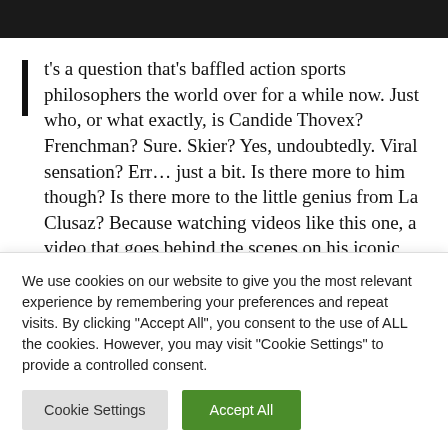[Figure (photo): Dark textured background image header strip]
t's a question that's baffled action sports philosophers the world over for a while now. Just who, or what exactly, is Candide Thovex? Frenchman? Sure. Skier? Yes, undoubtedly. Viral sensation? Err... just a bit. Is there more to him though? Is there more to the little genius from La Clusaz? Because watching videos like this one, a video that goes behind the scenes on his iconic 'Ski The World' segment at the Great Wall of China, it's hard not to be hit by a sense of "Ah, christ. This guy really did change the
We use cookies on our website to give you the most relevant experience by remembering your preferences and repeat visits. By clicking "Accept All", you consent to the use of ALL the cookies. However, you may visit "Cookie Settings" to provide a controlled consent.
Cookie Settings
Accept All